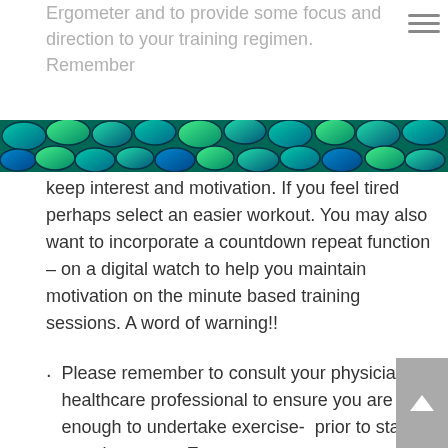Ergometer and to provide some focus and direction to your training regimen. Remember
[Figure (photo): Decorative banner image with turquoise/teal and green mosaic or cell-like pattern]
keep interest and motivation. If you feel tired perhaps select an easier workout. You may also want to incorporate a countdown repeat function – on a digital watch to help you maintain motivation on the minute based training sessions. A word of warning!!
Please remember to consult your physician or healthcare professional to ensure you are fit enough to undertake exercise-  prior to starting to train on your Ergometer.